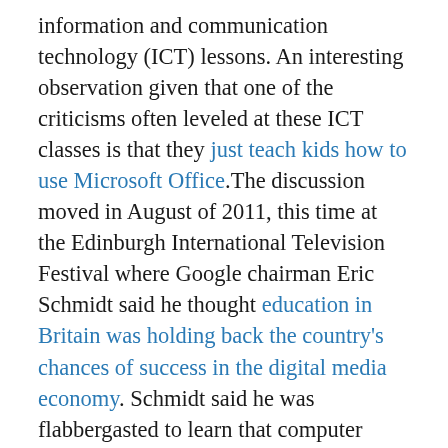information and communication technology (ICT) lessons. An interesting observation given that one of the criticisms often leveled at these ICT classes is that they just teach kids how to use Microsoft Office. The discussion moved in August of 2011, this time at the Edinburgh International Television Festival where Google chairman Eric Schmidt said he thought education in Britain was holding back the country's chances of success in the digital media economy. Schmidt said he was flabbergasted to learn that computer science was not taught as standard in UK schools, despite what he called the “fabulous initiative” in the 1980s when the BBC not only broadcast programmes for children about coding, but